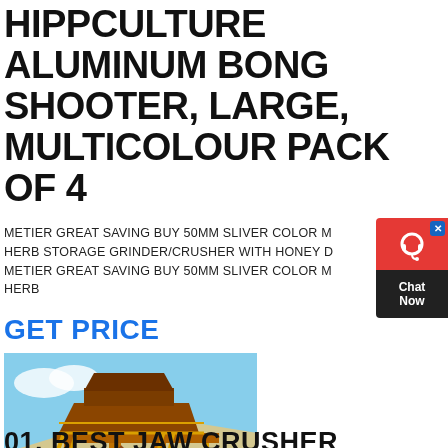HIPPCULTURE ALUMINUM BONG SHOOTER, LARGE, MULTICOLOUR PACK OF 4
METIER GREAT SAVING BUY 50MM SLIVER COLOR M HERB STORAGE GRINDER/CRUSHER WITH HONEY D METIER GREAT SAVING BUY 50MM SLIVER COLOR M HERB
GET PRICE
[Figure (photo): Industrial yellow crushing/screening machine structure at a quarry or mining site, with staircases and conveyor belts visible against a sandy hillside and blue sky.]
01. BEST JAW CRUSHER